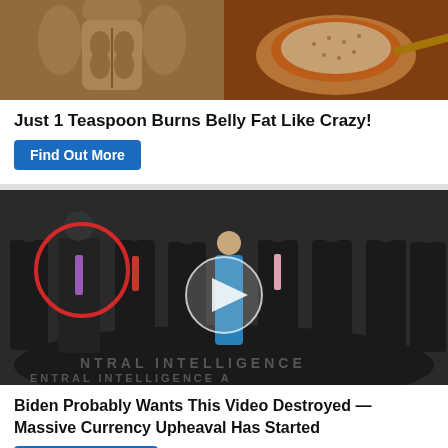[Figure (photo): Two side-by-side images: left shows a muscular male torso, right shows spices on a spoon]
Just 1 Teaspoon Burns Belly Fat Like Crazy!
Find Out More
[Figure (photo): Group of men in suits standing in CIA headquarters lobby with a red circle highlighting one man and a video play button overlay]
Biden Probably Wants This Video Destroyed — Massive Currency Upheaval Has Started
Watch The Video